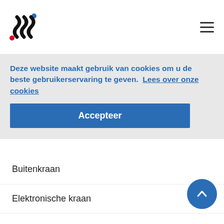SSC logo and navigation hamburger menu
Deze website maakt gebruik van cookies om u de beste gebruikerservaring te geven.  Lees over onze cookies
Accepteer
Buitenkraan
Elektronische kraan
Keukenkraan
Uitgietbakkraan
Toiletkraan